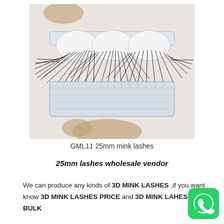[Figure (photo): Photo of three sets of 25mm mink false eyelashes displayed in a clear plastic tray, being held by a person's hands. The lashes are long, voluminous and dramatic in black.]
GML11 25mm mink lashes
25mm lashes wholesale vendor
We can produce any kinds of 3D MINK LASHES ,if you want know 3D MINK LASHES PRICE and 3D MINK LAHES BULK